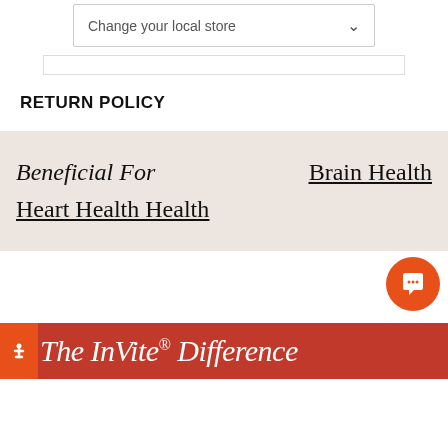[Figure (screenshot): A dropdown/select UI element with text 'Change your local store' and a chevron arrow, inside a bordered box.]
RETURN POLICY
Beneficial For    Brain Health
Heart Health Health
The InVite® Difference